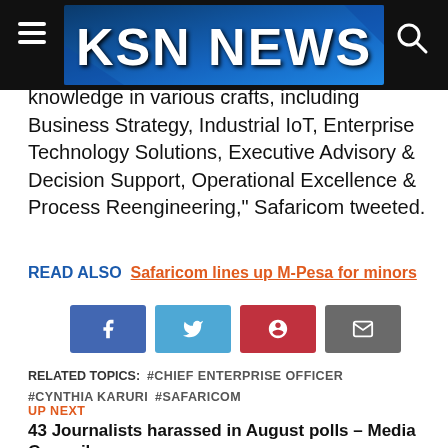[Figure (logo): KSN NEWS logo on dark background with hamburger menu icon on left and search icon on right]
knowledge in various crafts, including Business Strategy, Industrial IoT, Enterprise Technology Solutions, Executive Advisory & Decision Support, Operational Excellence & Process Reengineering," Safaricom tweeted.
READ ALSO  Safaricom lines up M-Pesa for minors
[Figure (other): Social share buttons: Facebook, Twitter, Pinterest, Email]
RELATED TOPICS: #CHIEF ENTERPRISE OFFICER #CYNTHIA KARURI #SAFARICOM
UP NEXT
43 Journalists harassed in August polls – Media Council
DON'T MISS